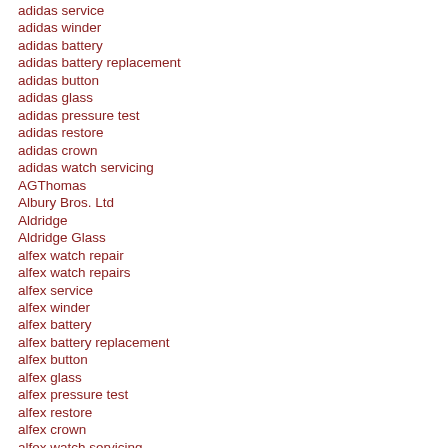adidas service
adidas winder
adidas battery
adidas battery replacement
adidas button
adidas glass
adidas pressure test
adidas restore
adidas crown
adidas watch servicing
AGThomas
Albury Bros. Ltd
Aldridge
Aldridge Glass
alfex watch repair
alfex watch repairs
alfex service
alfex winder
alfex battery
alfex battery replacement
alfex button
alfex glass
alfex pressure test
alfex restore
alfex crown
alfex watch servicing
alfex
alic
amadeus watch repair